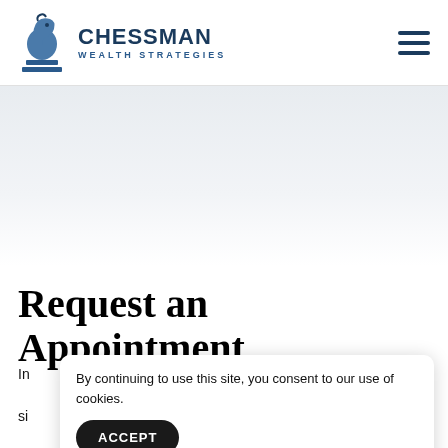[Figure (logo): Chessman Wealth Strategies logo with knight chess piece icon in blue and dark navy text]
[Figure (illustration): Light blue-grey gradient hero banner area, partially visible]
Request an Appointment
In si
By continuing to use this site, you consent to our use of cookies. ACCEPT